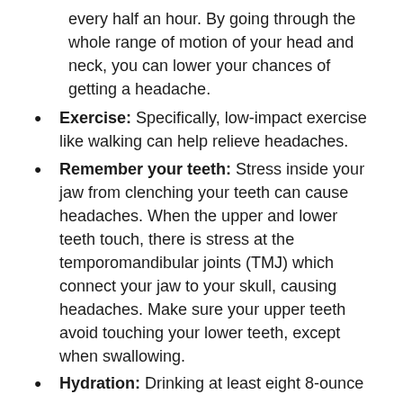every half an hour. By going through the whole range of motion of your head and neck, you can lower your chances of getting a headache.
Exercise: Specifically, low-impact exercise like walking can help relieve headaches.
Remember your teeth: Stress inside your jaw from clenching your teeth can cause headaches. When the upper and lower teeth touch, there is stress at the temporomandibular joints (TMJ) which connect your jaw to your skull, causing headaches. Make sure your upper teeth avoid touching your lower teeth, except when swallowing.
Hydration: Drinking at least eight 8-ounce glasses of water a day can help prevent...